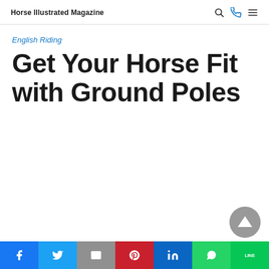Horse Illustrated Magazine
English Riding
Get Your Horse Fit with Ground Poles